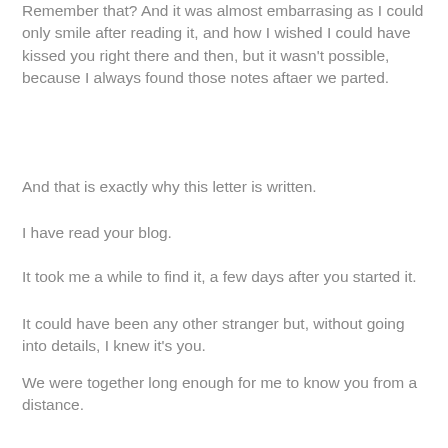Remember that? And it was almost embarrasing as I could only smile after reading it, and how I wished I could have kissed you right there and then, but it wasn't possible, because I always found those notes aftaer we parted.
And that is exactly why this letter is written.
I have read your blog.
It took me a while to find it, a few days after you started it.
It could have been any other stranger but, without going into details, I knew it's you.
We were together long enough for me to know you from a distance.
I'm not sure what to say, because any words might invoke meanings that range from being unintended to hurtful to relief.
I'm sorry for what we had to go through and I'm sorry that this had to end.